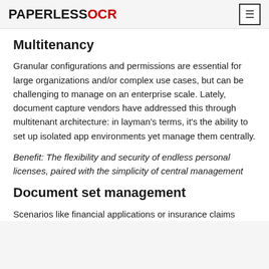PAPERLESSOCR
Multitenancy
Granular configurations and permissions are essential for large organizations and/or complex use cases, but can be challenging to manage on an enterprise scale. Lately, document capture vendors have addressed this through multitenant architecture: in layman's terms, it's the ability to set up isolated app environments yet manage them centrally.
Benefit: The flexibility and security of endless personal licenses, paired with the simplicity of central management
Document set management
Scenarios like financial applications or insurance claims